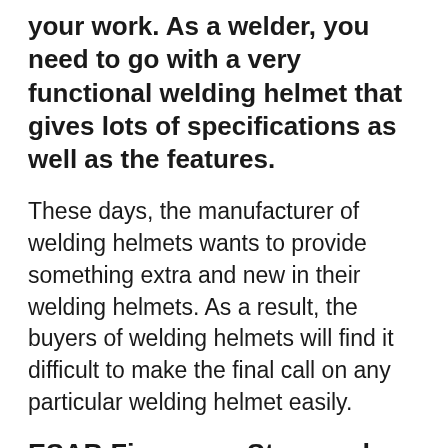your work. As a welder, you need to go with a very functional welding helmet that gives lots of specifications as well as the features.
These days, the manufacturer of welding helmets wants to provide something extra and new in their welding helmets. As a result, the buyers of welding helmets will find it difficult to make the final call on any particular welding helmet easily.
ESAB Firepower Stars and Stripes Review
Somehow, you can take a brief look at the ESAB Firepower Stars and Stripes welding